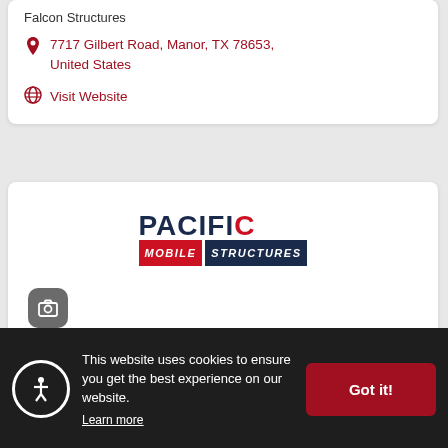Falcon Structures
7717 Gilbert Road, Manor, TX 78653, United States
Visit Website
[Figure (logo): Pacific Mobile Structures logo — 'PACIFIC' in large dark navy bold text above a two-part bar: left portion 'MOBILE' in white italic bold on red background, right portion 'STRUCTURES' in white italic bold on dark navy background]
[Figure (other): Small rounded square gray icon with a camera/photo symbol inside]
This website uses cookies to ensure you get the best experience on our website.
Learn more
Got it!